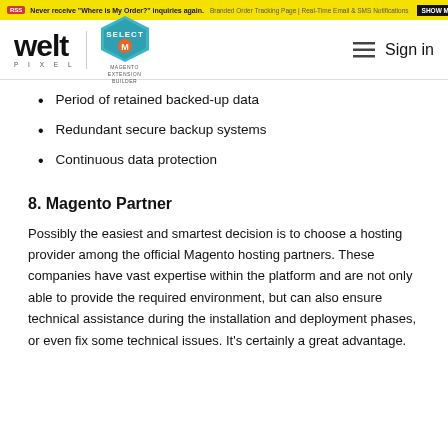Never receive "Where is My Order?" inquiries again. Branded Order Tracking Page | Real-Time Email & SMS Notifications SHOW ME HOW WeSupply.
[Figure (logo): WeltPixel logo with Magento Select Extension Builder badge and Sign in navigation]
Period of retained backed-up data
Redundant secure backup systems
Continuous data protection
8. Magento Partner
Possibly the easiest and smartest decision is to choose a hosting provider among the official Magento hosting partners. These companies have vast expertise within the platform and are not only able to provide the required environment, but can also ensure technical assistance during the installation and deployment phases, or even fix some technical issues. It's certainly a great advantage.